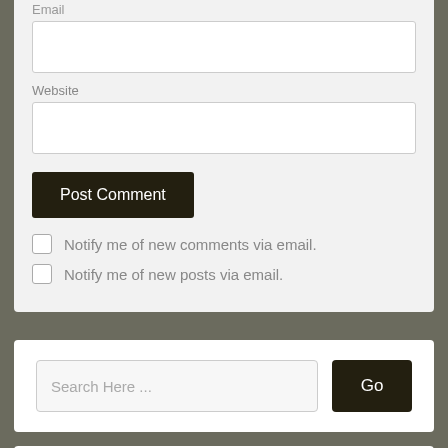Email
Website
Post Comment
Notify me of new comments via email.
Notify me of new posts via email.
Search Here ...
Go